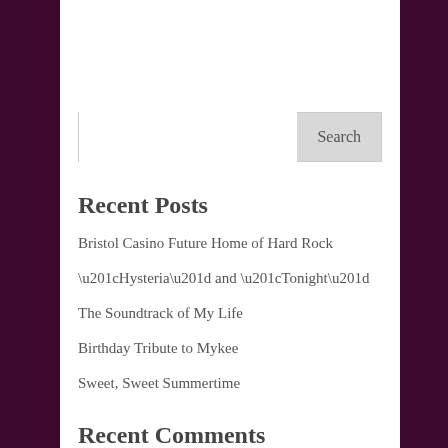Search
Recent Posts
Bristol Casino Future Home of Hard Rock
“Hysteria” and “Tonight”
The Soundtrack of My Life
Birthday Tribute to Mykee
Sweet, Sweet Summertime
Recent Comments
Rose Klix on Poet Laureate
Terry Johnson on Give Grief Its Hours